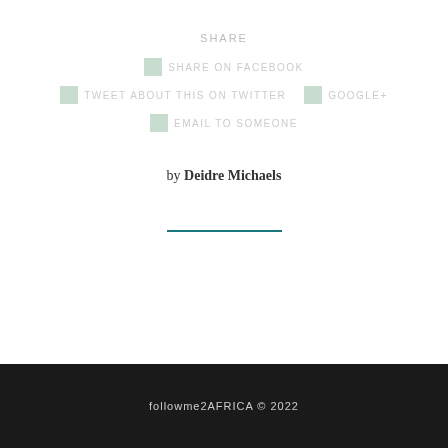SHARE
SHARE ON FACEBOOK
TWEET ABOUT THIS ON TWITTER
GOOGLE+
EMAIL TO SOMEONE
by Deidre Michaels
followme2AFRICA © 2022